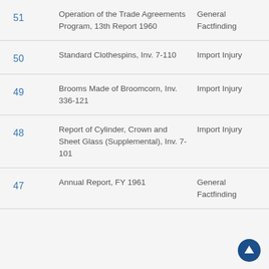| # | Title | Type |
| --- | --- | --- |
| 51 | Operation of the Trade Agreements Program, 13th Report 1960 | General Factfinding |
| 50 | Standard Clothespins, Inv. 7-110 | Import Injury |
| 49 | Brooms Made of Broomcorn, Inv. 336-121 | Import Injury |
| 48 | Report of Cylinder, Crown and Sheet Glass (Supplemental), Inv. 7-101 | Import Injury |
| 47 | Annual Report, FY 1961 | General Factfinding |